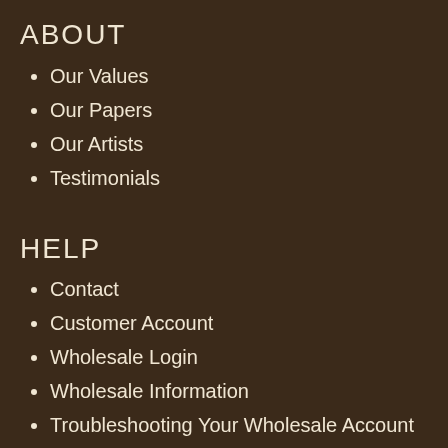ABOUT
Our Values
Our Papers
Our Artists
Testimonials
HELP
Contact
Customer Account
Wholesale Login
Wholesale Information
Troubleshooting Your Wholesale Account
Terms & Conditions